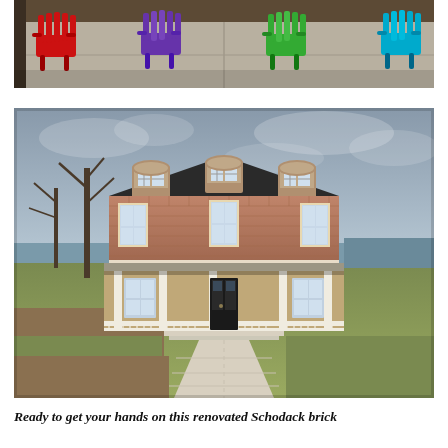[Figure (photo): Outdoor patio scene with four colorful Adirondack chairs (red, purple, green, teal/cyan) on a concrete surface, viewed from above at an angle. Part of a deck or building structure visible at top.]
[Figure (photo): Exterior of a large renovated brick colonial/mansard-style house with three dormer windows on the top floor, covered front porch with white columns, black front door, and a concrete walkway leading to the entrance. Bare winter trees visible on the left, overcast sky, lawn in foreground.]
Ready to get your hands on this renovated Schodack brick